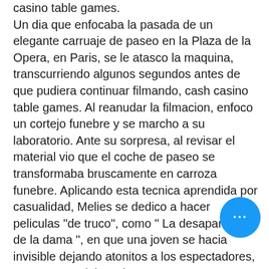casino table games. Un dia que enfocaba la pasada de un elegante carruaje de paseo en la Plaza de la Opera, en Paris, se le atasco la maquina, transcurriendo algunos segundos antes de que pudiera continuar filmando, cash casino table games. Al reanudar la filmacion, enfoco un cortejo funebre y se marcho a su laboratorio. Ante su sorpresa, al revisar el material vio que el coche de paseo se transformaba bruscamente en carroza funebre. Aplicando esta tecnica aprendida por casualidad, Melies se dedico a hacer peliculas "de truco", como " La desaparicion de la dama ", en que una joven se hacia invisible dejando atonitos a los espectadores, y otras mas elaboradas, como " La Cenicienta ", " Un viaje a la luna " y " Un viaje imposible ", inspiradas las dos ultimas en Julio Verne y H. El septimo arte La primera decada del siglo XX vio el desarrollo del cine como industria y como espectaculo.